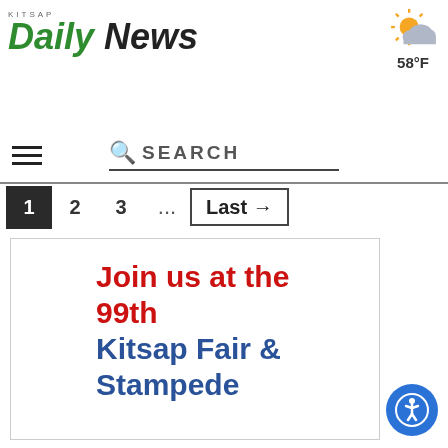Kitsap Daily News
58°F
SEARCH
1  2  3  ...  Last →
[Figure (infographic): Advertisement for the 99th Kitsap Fair & Stampede. Text reads 'Join us at the 99th' in red and 'Kitsap Fair & Stampede' in blue.]